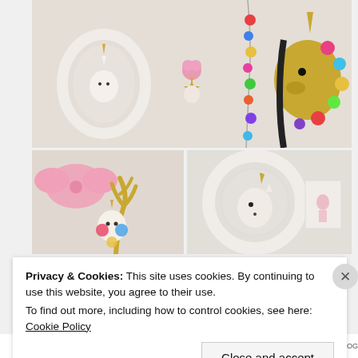[Figure (photo): Wide photo showing decorative unicorn wall mounts and hangings on a white wall. Left: white ornate oval frame with small white unicorn head. Center: gold star-shaped hook with pink floral unicorn figure. Center-right: colorful pom-pom garland hanging. Right: large gold unicorn head with colorful pom-pom decorations.]
[Figure (photo): Close-up photo of a gold antler/stag wall hook with a large pink bow and colorful floral unicorn figure hanging from it, against a white wall.]
[Figure (photo): Photo of a decorative white ornate oval picture frame on a white wall, with a small unicorn head figure inside it; art print partially visible in background.]
Privacy & Cookies: This site uses cookies. By continuing to use this website, you agree to their use.
To find out more, including how to control cookies, see here: Cookie Policy
Close and accept